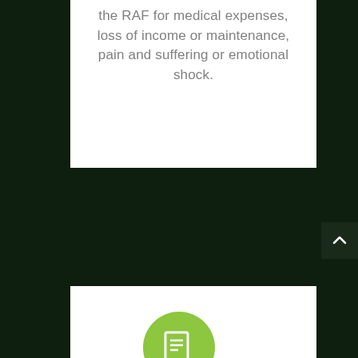the RAF for medical expenses, loss of income or maintenance, pain and suffering or emotional shock.
[Figure (illustration): Green circular icon with a white document/claim symbol inside, partially visible at the bottom of the page]